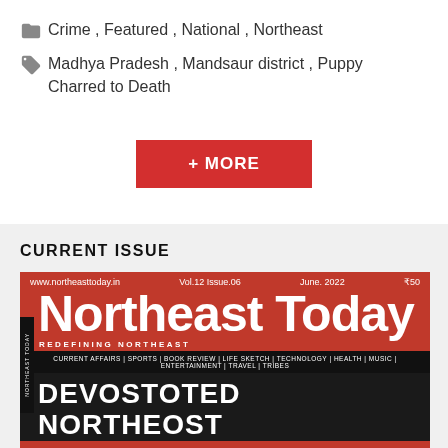Crime, Featured, National, Northeast
Madhya Pradesh, Mandsaur district, Puppy Charred to Death
+ MORE
CURRENT ISSUE
[Figure (photo): Magazine cover of Northeast Today, Vol.12 Issue.06, June 2022, ₹50. Red background with large white text 'Northeast Today', subtitle 'REDEFINING NORTHEAST', categories bar reading 'CURRENT AFFAIRS | SPORTS | BOOK REVIEW | LIFE SKETCH | TECHNOLOGY | HEALTH | MUSIC | ENTERTAINMENT | TRAVEL | TRIBES', and partial headline 'DEVOSTOTED NORTHEOST']